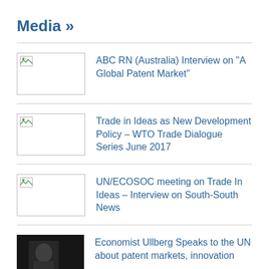Media »
ABC RN (Australia) Interview on “A Global Patent Market”
Trade in Ideas as New Development Policy – WTO Trade Dialogue Series June 2017
UN/ECOSOC meeting on Trade In Ideas – Interview on South-South News
Economist Ullberg Speaks to the UN about patent markets, innovation